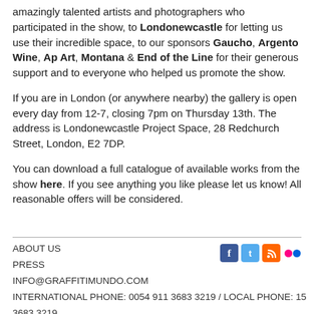amazingly talented artists and photographers who participated in the show, to Londonewcastle for letting us use their incredible space, to our sponsors Gaucho, Argento Wine, Ap Art, Montana & End of the Line for their generous support and to everyone who helped us promote the show.
If you are in London (or anywhere nearby) the gallery is open every day from 12-7, closing 7pm on Thursday 13th. The address is Londonewcastle Project Space, 28 Redchurch Street, London, E2 7DP.
You can download a full catalogue of available works from the show here. If you see anything you like please let us know! All reasonable offers will be considered.
ABOUT US
PRESS
INFO@GRAFFITIMUNDO.COM
INTERNATIONAL PHONE: 0054 911 3683 3219 / LOCAL PHONE: 15 3683 3219